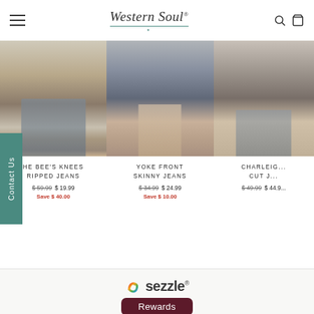Western Soul — navigation header with hamburger menu, logo, search and cart icons
[Figure (screenshot): Three product images showing jeans/clothing items cropped at waist-down level]
THE BEE'S KNEES RIPPED JEANS
$59.99  $19.99
Save $40.00
YOKE FRONT SKINNY JEANS
$34.99  $24.99
Save $10.00
CHARLEIGH CUT J...
$49.99  $44.9...
[Figure (logo): Sezzle logo with colorful swirl icon and brand name]
Rewards